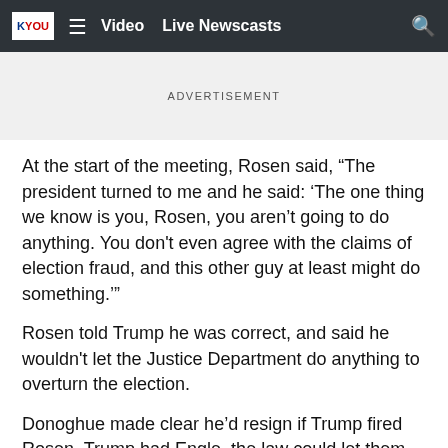KYOU  ☰  Video  Live Newscasts  🔍
ADVERTISEMENT
At the start of the meeting, Rosen said, “The president turned to me and he said: ‘The one thing we know is you, Rosen, you aren’t going to do anything. You don’t even agree with the claims of election fraud, and this other guy at least might do something.’”
Rosen told Trump he was correct, and said he wouldn’t let the Justice Department do anything to overturn the election.
Donoghue made clear he’d resign if Trump fired Rosen. Trump had Engle, the law could let them see Engle